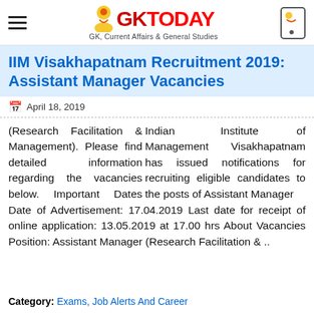GKToday – GK, Current Affairs & General Studies
IIM Visakhapatnam Recruitment 2019: Assistant Manager Vacancies
April 18, 2019
Indian Institute of Management Visakhapatnam has issued notifications for recruiting eligible candidates to the posts of Assistant Manager (Research Facilitation & Management). Please find detailed information regarding the vacancies below. Important Dates Date of Advertisement: 17.04.2019 Last date for receipt of online application: 13.05.2019 at 17.00 hrs About Vacancies Position: Assistant Manager (Research Facilitation & ..
Category: Exams, Job Alerts And Career